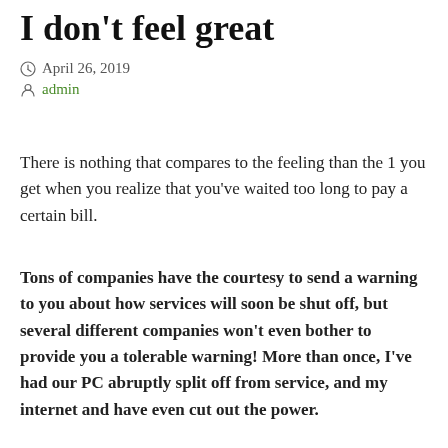I don't feel great
April 26, 2019
admin
There is nothing that compares to the feeling than the 1 you get when you realize that you've waited too long to pay a certain bill.
Tons of companies have the courtesy to send a warning to you about how services will soon be shut off, but several different companies won't even bother to provide you a tolerable warning! More than once, I've had our PC abruptly split off from service, and my internet and have even cut out the power.